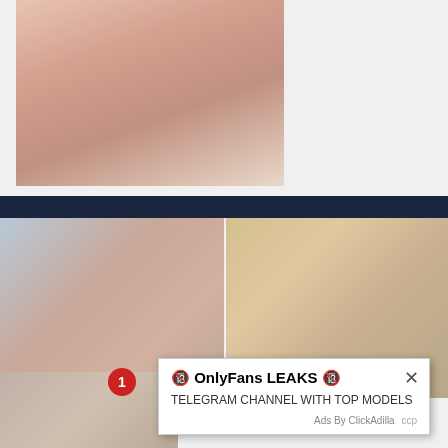[Figure (photo): Partial view of a person in a pink bikini on a beach with sand]
[Figure (photo): Blonde woman looking upward in a blue and orange setting]
[Figure (photo): Blonde woman posing indoors in warm lighting]
[Figure (photo): Close-up partial photo, lower section]
🔞 OnlyFans LEAKS 🔞
TELEGRAM CHANNEL WITH TOP MODELS
Ads By ClickAdilla   ccp